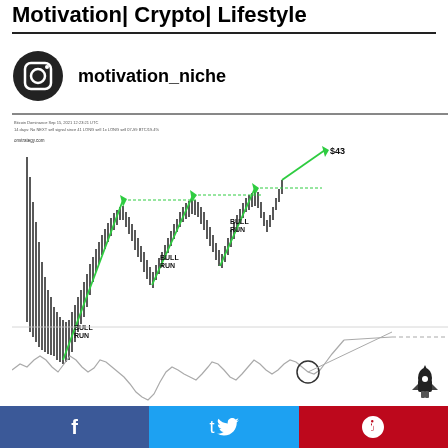Motivation| Crypto| Lifestyle
motivation_niche
[Figure (continuous-plot): Cryptocurrency price chart showing three 'BULL RUN' cycles annotated with green diagonal arrows pointing upward. The candlestick chart shows an ascending staircase pattern with three bull runs labeled, ending with a price target of $43. Below the main chart is a secondary indicator chart with a circled signal point and an upward arrow.]
f  t  p